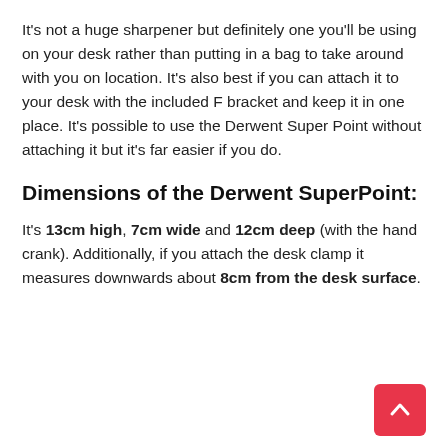It's not a huge sharpener but definitely one you'll be using on your desk rather than putting in a bag to take around with you on location. It's also best if you can attach it to your desk with the included F bracket and keep it in one place. It's possible to use the Derwent Super Point without attaching it but it's far easier if you do.
Dimensions of the Derwent SuperPoint:
It's 13cm high, 7cm wide and 12cm deep (with the hand crank). Additionally, if you attach the desk clamp it measures downwards about 8cm from the desk surface.